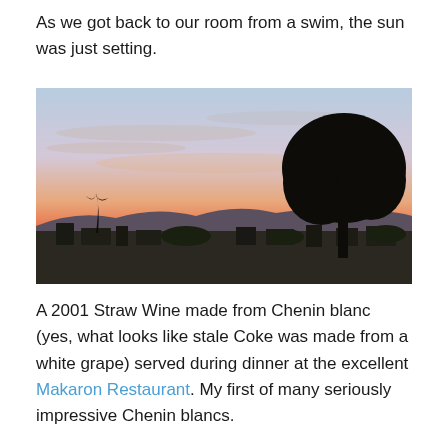As we got back to our room from a swim, the sun was just setting.
[Figure (photo): Sunset photo showing a colorful sky with orange and pink hues near the horizon, a large tree silhouette on the right, palm trees and buildings silhouetted at the bottom.]
A 2001 Straw Wine made from Chenin blanc (yes, what looks like stale Coke was made from a white grape) served during dinner at the excellent Makaron Restaurant. My first of many seriously impressive Chenin blancs.